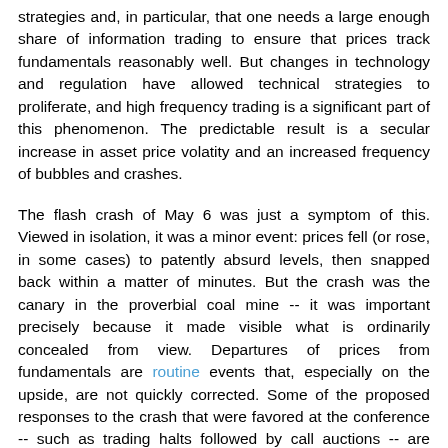strategies and, in particular, that one needs a large enough share of information trading to ensure that prices track fundamentals reasonably well. But changes in technology and regulation have allowed technical strategies to proliferate, and high frequency trading is a significant part of this phenomenon. The predictable result is a secular increase in asset price volatity and an increased frequency of bubbles and crashes.
The flash crash of May 6 was just a symptom of this. Viewed in isolation, it was a minor event: prices fell (or rose, in some cases) to patently absurd levels, then snapped back within a matter of minutes. But the crash was the canary in the proverbial coal mine -- it was important precisely because it made visible what is ordinarily concealed from view. Departures of prices from fundamentals are routine events that, especially on the upside, are not quickly corrected. Some of the proposed responses to the crash that were favored at the conference -- such as trading halts followed by call auctions -- are cosmetic changes. They will have the effect of silencing the canary while doing nothing to lower toxicity in the mine.